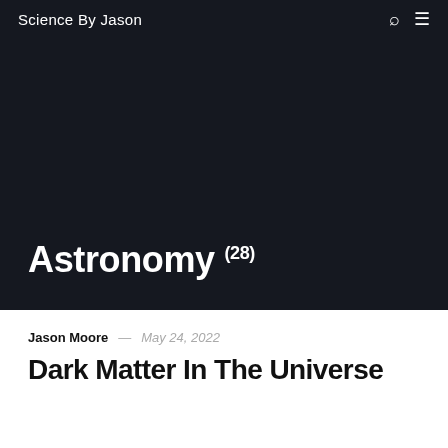Science By Jason
Astronomy (28)
Jason Moore — May 24, 2022
Dark Matter In The Universe